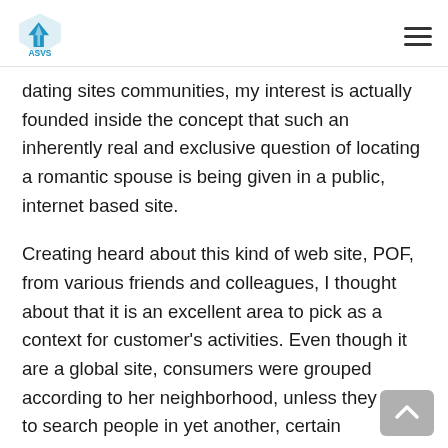ASVS
dating sites communities, my interest is actually founded inside the concept that such an inherently real and exclusive question of locating a romantic spouse is being given in a public, internet based site.
Creating heard about this kind of web site, POF, from various friends and colleagues, I thought about that it is an excellent area to pick as a context for customer’s activities. Even though it are a global site, consumers were grouped according to her neighborhood, unless they wish to search people in yet another, certain neighborhood. Membership within this community